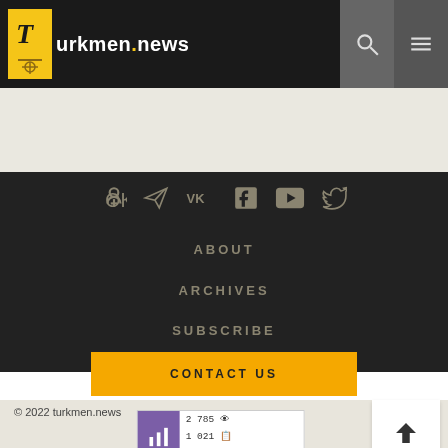Turkmen.news
[Figure (screenshot): Beige/grey content area placeholder]
[Figure (infographic): Social media icons row: Odnoklassniki, Telegram, VK, Facebook, YouTube, Twitter]
ABOUT
ARCHIVES
SUBSCRIBE
CONTACT US
© 2022 turkmen.news
[Figure (other): LiveInternet stats widget showing 2 785 views, 1 021 entries, 805 visitors]